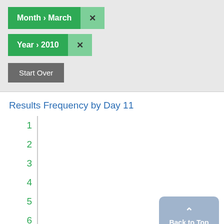Month > March  ×
Year > 2010  ×
Start Over
Results Frequency by Day 11
1
2
3
4
5
6
7
8
9
Back to Top